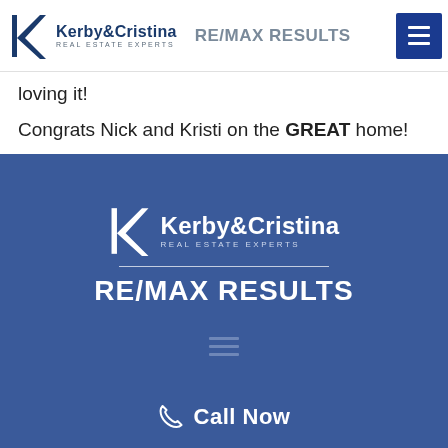Kerby&Cristina Real Estate Experts RE/MAX RESULTS
loving it!
Congrats Nick and Kristi on the GREAT home!
[Figure (logo): Kerby&Cristina Real Estate Experts RE/MAX RESULTS logo on blue background with hamburger menu icon and Call Now button]